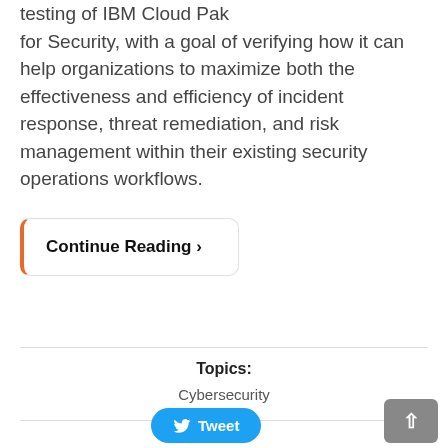testing of IBM Cloud Pak for Security, with a goal of verifying how it can help organizations to maximize both the effectiveness and efficiency of incident response, threat remediation, and risk management within their existing security operations workflows.
Continue Reading >
Topics:
Cybersecurity
Tweet